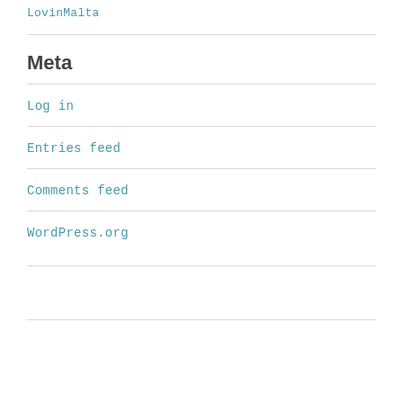LovinMalta
Meta
Log in
Entries feed
Comments feed
WordPress.org